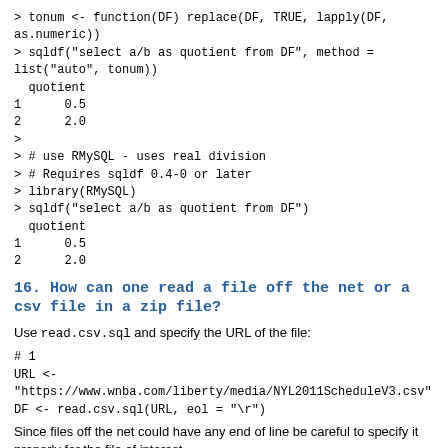> tonum <- function(DF) replace(DF, TRUE, lapply(DF,
as.numeric))
> sqldf("select a/b as quotient from DF", method =
list("auto", tonum))
  quotient
1      0.5
2      2.0
>
> # use RMySQL - uses real division
> # Requires sqldf 0.4-0 or later
> library(RMySQL)
> sqldf("select a/b as quotient from DF")
  quotient
1      0.5
2      2.0
16. How can one read a file off the net or a csv file in a zip file?
Use read.csv.sql and specify the URL of the file:
# 1
URL <-
"https://www.wnba.com/liberty/media/NYL2011ScheduleV3.csv"
DF <- read.csv.sql(URL, eol = "\r")
Since files off the net could have any end of line be careful to specify it properly for the file of interest.